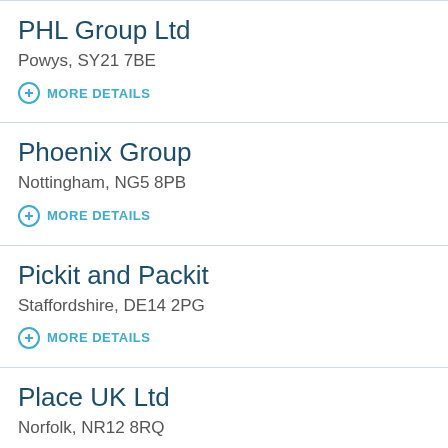PHL Group Ltd
Powys, SY21 7BE
MORE DETAILS
Phoenix Group
Nottingham, NG5 8PB
MORE DETAILS
Pickit and Packit
Staffordshire, DE14 2PG
MORE DETAILS
Place UK Ltd
Norfolk, NR12 8RQ
MORE DETAILS